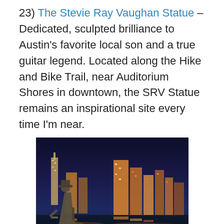23) The Stevie Ray Vaughan Statue – Dedicated, sculpted brilliance to Austin's favorite local son and a true guitar legend. Located along the Hike and Bike Trail, near Auditorium Shores in downtown, the SRV Statue remains an inspirational site every time I'm near.
[Figure (photo): Night photograph of the Stevie Ray Vaughan bronze statue in the foreground with the illuminated Austin, Texas skyline and its reflections on the water behind it.]
24) Chicken Sh*t Bingo at Ginny's Little Longhorn Saloon – Yes, you read that right. Sunday afternoons. Live music. Free chili dogs. Cheap brews. And, yep, a chicken pecking